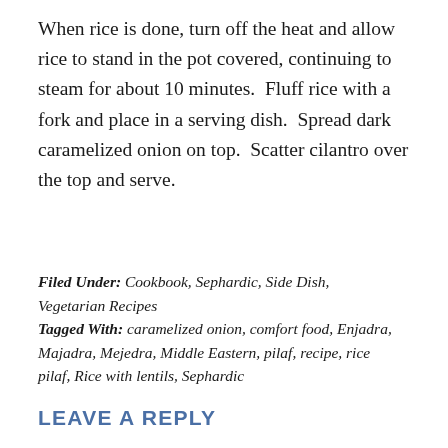When rice is done, turn off the heat and allow rice to stand in the pot covered, continuing to steam for about 10 minutes.  Fluff rice with a fork and place in a serving dish.  Spread dark caramelized onion on top.  Scatter cilantro over the top and serve.
Filed Under: Cookbook, Sephardic, Side Dish, Vegetarian Recipes
Tagged With: caramelized onion, comfort food, Enjadra, Majadra, Mejedra, Middle Eastern, pilaf, recipe, rice pilaf, Rice with lentils, Sephardic
LEAVE A REPLY